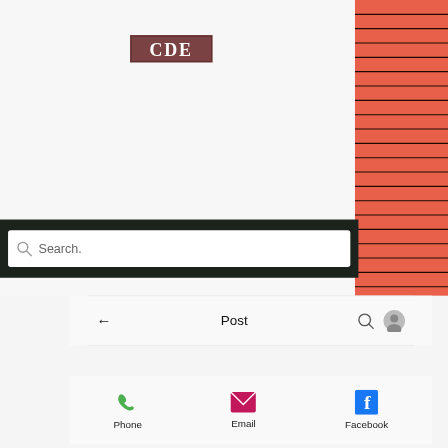[Figure (logo): CDE logo — white bold serif letters on a dark reddish-brown background with border]
[Figure (illustration): Vertical red slatted/striped panel on the right side of the page]
[Figure (screenshot): Search bar UI element with magnifying glass icon and placeholder text 'Search.' on dark background]
[Figure (screenshot): Navigation bar with back arrow, 'Post' text, search icon, and profile avatar icon]
[Figure (screenshot): Social contact bar with Phone (green phone icon), Email (pink envelope icon), and Facebook (blue Facebook icon) options]